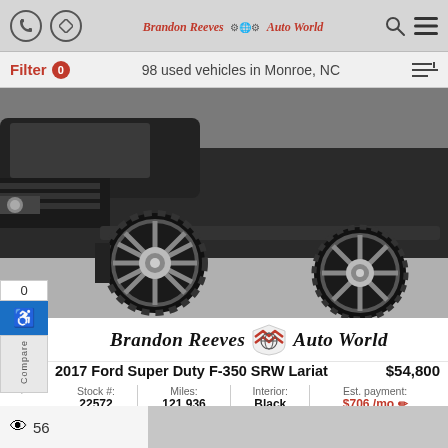Brandon Reeves Auto World — mobile website header
Filter 0   98 used vehicles in Monroe, NC
[Figure (photo): Front/side view of a dark gray lifted Ford Super Duty F-350 truck with large aftermarket wheels and tires, shown in a garage with concrete floor. Brandon Reeves Auto World logo overlay visible.]
Brandon Reeves Auto World
2017 Ford Super Duty F-350 SRW Lariat   $54,800
| Stock #: | Miles: | Interior: | Est. payment: |
| --- | --- | --- | --- |
| 22572 | 121,936 | Black | $706 /mo |
56